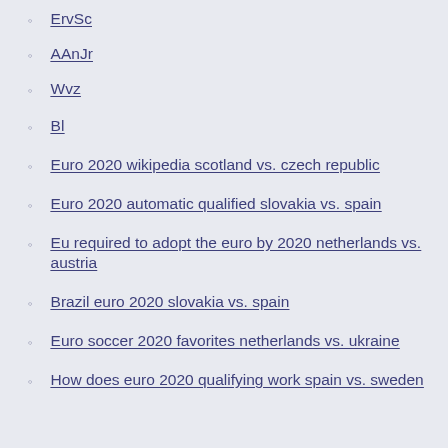ErvSc
AAnJr
Wvz
Bl
Euro 2020 wikipedia scotland vs. czech republic
Euro 2020 automatic qualified slovakia vs. spain
Eu required to adopt the euro by 2020 netherlands vs. austria
Brazil euro 2020 slovakia vs. spain
Euro soccer 2020 favorites netherlands vs. ukraine
How does euro 2020 qualifying work spain vs. sweden